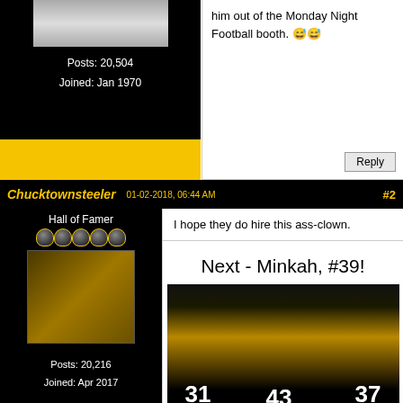Posts: 20,504
Joined: Jan 1970
him out of the Monday Night Football booth. 😅😅
Reply
Chucktownsteeler   01-02-2018, 06:44 AM   #2
Hall of Famer
Posts: 20,216
Joined: Apr 2017
I hope they do hire this ass-clown.
Next - Minkah, #39!
Steelers: TAKING THE SAFE OUT OF SAFETY SINCE 1974
Reply
RaynorShyne
Hall of Famer
01-02-2018, 11:34 PM   #3
ROFLMAO - I just posted